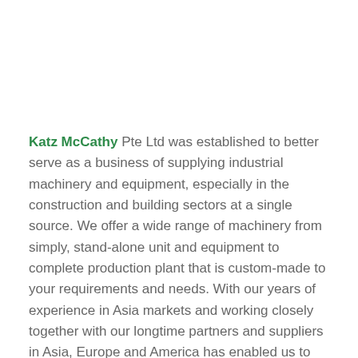Katz McCathy Pte Ltd was established to better serve as a business of supplying industrial machinery and equipment, especially in the construction and building sectors at a single source. We offer a wide range of machinery from simply, stand-alone unit and equipment to complete production plant that is custom-made to your requirements and needs. With our years of experience in Asia markets and working closely together with our longtime partners and suppliers in Asia, Europe and America has enabled us to accumulate and share our know-how with our clients to recommend the most reliable and cost